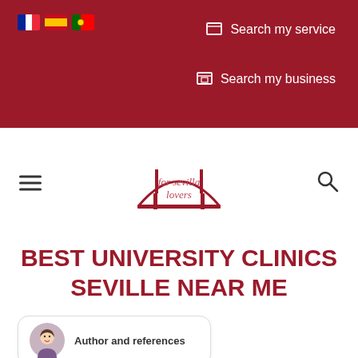Search my service | Search my business
[Figure (logo): For Sevilla Lovers website logo with bridge illustration and script text]
BEST UNIVERSITY CLINICS SEVILLE NEAR ME
Author and references